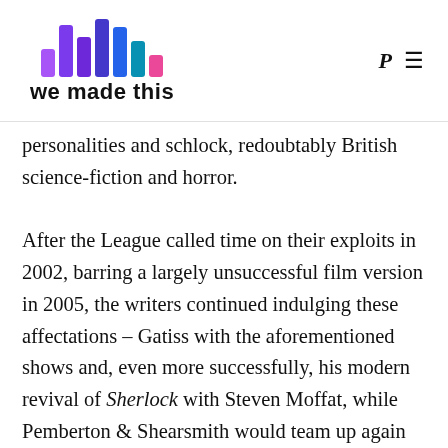we made this
personalities and schlock, redoubtably British science-fiction and horror.

After the League called time on their exploits in 2002, barring a largely unsuccessful film version in 2005, the writers continued indulging these affectations – Gatiss with the aforementioned shows and, even more successfully, his modern revival of Sherlock with Steven Moffat, while Pemberton & Shearsmith would team up again for darkly comedic inversions such as Psychoville and twisted anthology series Inside No. 9, a